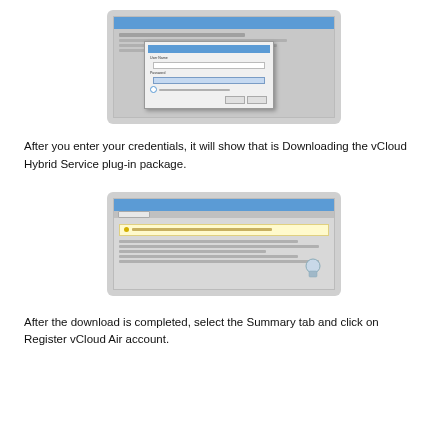[Figure (screenshot): Screenshot of vCloud Hybrid Service plug-in installation dialog with credential entry fields (User Name, Password) and Install/Cancel buttons]
After you enter your credentials, it will show that is Downloading the vCloud Hybrid Service plug-in package.
[Figure (screenshot): Screenshot of vCloud Hybrid Service plugin download in progress with yellow notification banner and informational text]
After the download is completed, select the Summary tab and click on Register vCloud Air account.